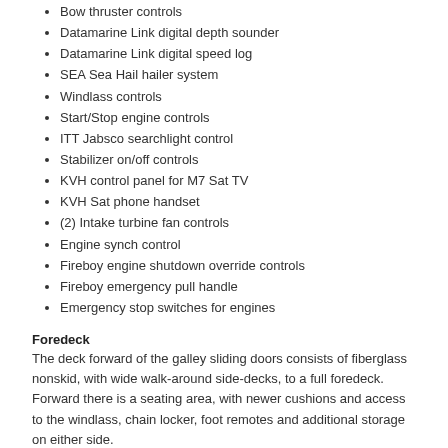Bow thruster controls
Datamarine Link digital depth sounder
Datamarine Link digital speed log
SEA Sea Hail hailer system
Windlass controls
Start/Stop engine controls
ITT Jabsco searchlight control
Stabilizer on/off controls
KVH control panel for M7 Sat TV
KVH Sat phone handset
(2) Intake turbine fan controls
Engine synch control
Fireboy engine shutdown override controls
Fireboy emergency pull handle
Emergency stop switches for engines
Foredeck
The deck forward of the galley sliding doors consists of fiberglass nonskid, with wide walk-around side-decks, to a full foredeck. Forward there is a seating area, with newer cushions and access to the windlass, chain locker, foot remotes and additional storage on either side.
Features include:
Welded stainless steel bow rails
Dual heavy duty spring line cleats
Maxwell 3500DC windlass with foot switches
Fiberglass foredeck burgee mast
Round Bomar opening deck hatch
Stainless steel anchor pulpit with bow roller
75lb CQR stainless anchor with all chain rode